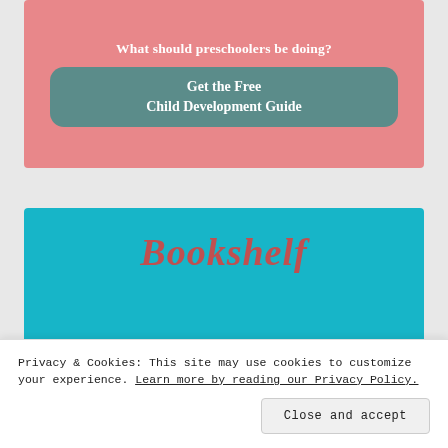[Figure (illustration): Pink promotional banner with white serif text 'What should preschoolers be doing?' and a teal rounded button reading 'Get the Free Child Development Guide']
[Figure (photo): Bright teal background image with the word 'Bookshelf' in large dark red italic serif font over a stack of orange and white books]
Privacy & Cookies: This site may use cookies to customize your experience. Learn more by reading our Privacy Policy.
Close and accept